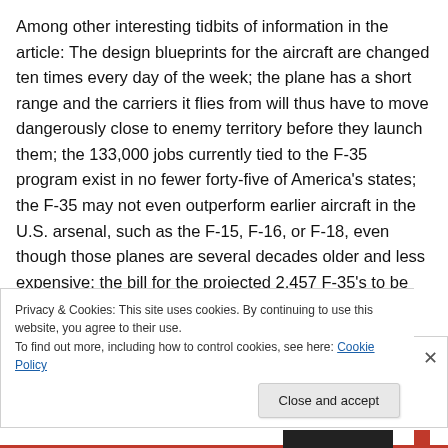Among other interesting tidbits of information in the article: The design blueprints for the aircraft are changed ten times every day of the week; the plane has a short range and the carriers it flies from will thus have to move dangerously close to enemy territory before they launch them; the 133,000 jobs currently tied to the F-35 program exist in no fewer forty-five of America's states; the F-35 may not even outperform earlier aircraft in the U.S. arsenal, such as the F-15, F-16, or F-18, even though those planes are several decades older and less expensive; the bill for the projected 2,457 F-35's to be
Privacy & Cookies: This site uses cookies. By continuing to use this website, you agree to their use.
To find out more, including how to control cookies, see here: Cookie Policy
Close and accept